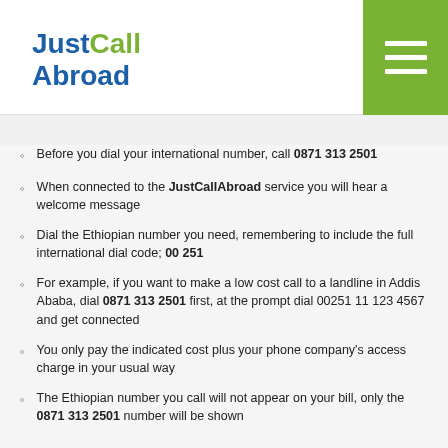JustCallAbroad
Before you dial your international number, call 0871 313 2501
When connected to the JustCallAbroad service you will hear a welcome message
Dial the Ethiopian number you need, remembering to include the full international dial code; 00 251
For example, if you want to make a low cost call to a landline in Addis Ababa, dial 0871 313 2501 first, at the prompt dial 00251 11 123 4567 and get connected
You only pay the indicated cost plus your phone company's access charge in your usual way
The Ethiopian number you call will not appear on your bill, only the 0871 313 2501 number will be shown